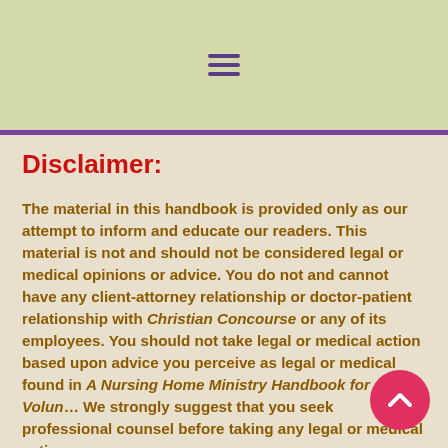☰
Disclaimer:
The material in this handbook is provided only as our attempt to inform and educate our readers. This material is not and should not be considered legal or medical opinions or advice. You do not and cannot have any client-attorney relationship or doctor-patient relationship with Christian Concourse or any of its employees. You should not take legal or medical action based upon advice you perceive as legal or medical found in A Nursing Home Ministry Handbook for Volun… We strongly suggest that you seek professional counsel before taking any legal or medical action